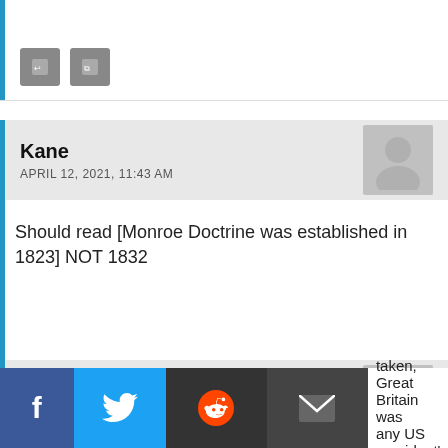[Figure (screenshot): Partial comment section top with action buttons (reply and copy icons)]
Kane
APRIL 12, 2021, 11:43 AM
Should read [Monroe Doctrine was established in 1823] NOT 1832
[Figure (screenshot): Action buttons (reply and copy icons) below Kane comment]
Rick
APRIL 12, 2021, 4:54 PM
taken, Great Britain was any US president's